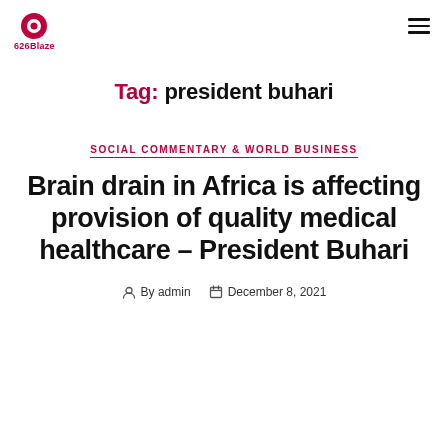626Blaze logo and hamburger menu
Tag: president buhari
SOCIAL COMMENTARY & WORLD BUSINESS
Brain drain in Africa is affecting provision of quality medical healthcare – President Buhari
By admin   December 8, 2021